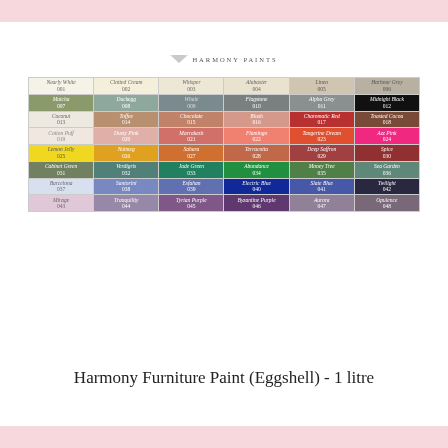[Figure (other): Color swatch chart showing 48 paint colors arranged in an 8x6 grid, each labeled with name and number. Brand: Harmony Paints. Colors range from whites and creams to greens, blues, purples, pinks, oranges, and blacks.]
Harmony Furniture Paint (Eggshell) - 1 litre